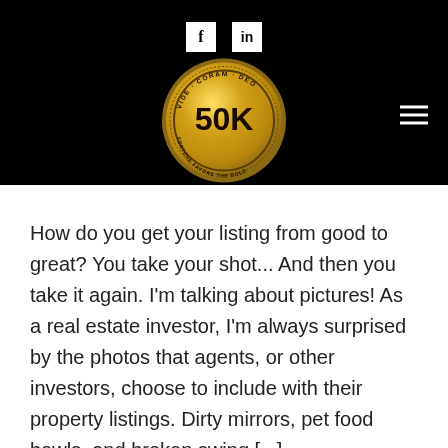[Figure (logo): Black header bar with Facebook and LinkedIn social media icons at top center, a gold coin logo in the center reading '50K' with text 'VIDE CORAM DEO' and 'FORTUNE FAVORS THE BOLD' around the edge, and a hamburger menu icon on the right.]
How do you get your listing from good to great? You take your shot... And then you take it again. I'm talking about pictures! As a real estate investor, I'm always surprised by the photos that agents, or other investors, choose to include with their property listings. Dirty mirrors, pet food bowls, and broken swing [...]